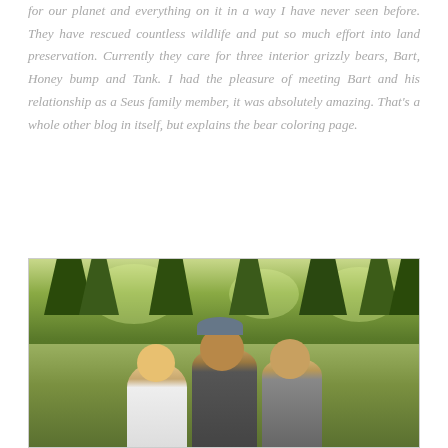for our planet and everything on it in a way I have never seen before. They have rescued countless wildlife and put so much effort into land preservation. Currently they care for three interior grizzly bears, Bart, Honey bump and Tank. I had the pleasure of meeting Bart and his relationship as a Seus family member, it was absolutely amazing. That's a whole other blog in itself, but explains the bear coloring page.
[Figure (photo): Outdoor photo showing two or three people smiling together in front of trees and green foliage, partially cropped at the bottom of the page.]